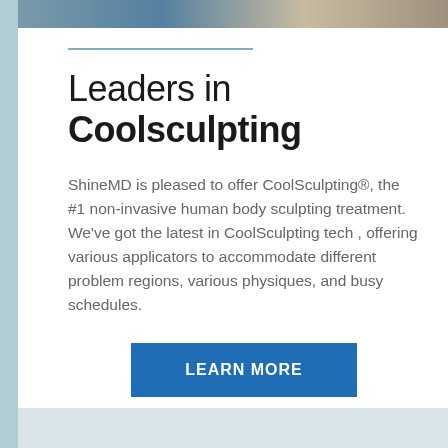[Figure (photo): Partial photo strip at top of page showing people]
Leaders in Coolsculpting
ShineMD is pleased to offer CoolSculpting®, the #1 non-invasive human body sculpting treatment. We've got the latest in CoolSculpting tech , offering various applicators to accommodate different problem regions, various physiques, and busy schedules.
LEARN MORE